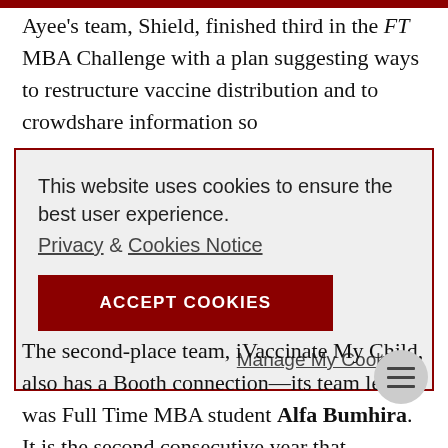Ayee’s team, Shield, finished third in the FT MBA Challenge with a plan suggesting ways to restructure vaccine distribution and to crowdshare information so
This website uses cookies to ensure the best user experience.
Privacy & Cookies Notice
ACCEPT COOKIES
Manage My Cookies
The second-place team, iVaccinate My Child, also has a Booth connection—its team leader was Full Time MBA student Alfa Bumhira. It is the second consecutive year that Bumhira has had a strong